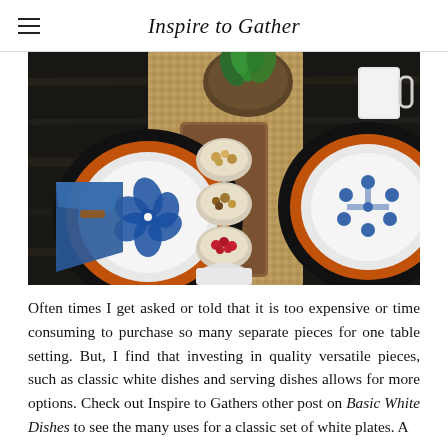Inspire to Gather
[Figure (photo): Overhead view of a styled table setting featuring blue and white patterned plates on orange chargers stacked on dark plates, a wooden tray with small bowls of nuts and berries, a woven placemat runner, a potted plant, a white mug, and a blue napkin with leather tie.]
Often times I get asked or told that it is too expensive or time consuming to purchase so many separate pieces for one table setting. But, I find that investing in quality versatile pieces, such as classic white dishes and serving dishes allows for more options. Check out Inspire to Gathers other post on Basic White Dishes to see the many uses for a classic set of white plates. A